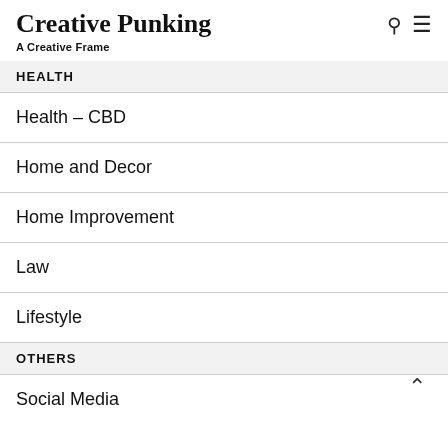Creative Punking — A Creative Frame
HEALTH
Health – CBD
Home and Decor
Home Improvement
Law
Lifestyle
OTHERS
Social Media